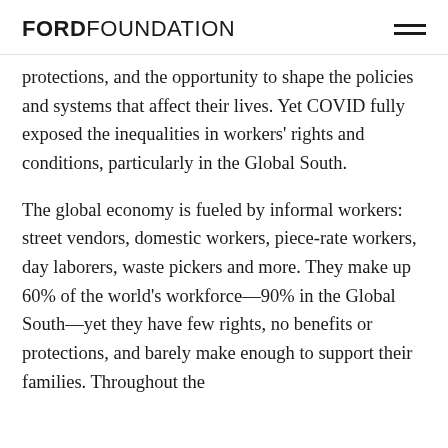FORD FOUNDATION
protections, and the opportunity to shape the policies and systems that affect their lives. Yet COVID fully exposed the inequalities in workers' rights and conditions, particularly in the Global South.
The global economy is fueled by informal workers: street vendors, domestic workers, piece-rate workers, day laborers, waste pickers and more. They make up 60% of the world's workforce—90% in the Global South—yet they have few rights, no benefits or protections, and barely make enough to support their families. Throughout the